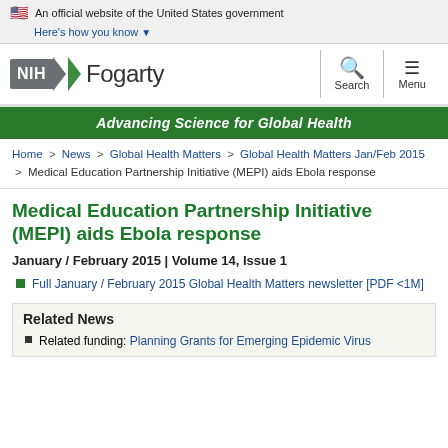An official website of the United States government
Here's how you know
[Figure (logo): NIH Fogarty International Center logo with NIH box and green arrow]
Search
Menu
Advancing Science for Global Health
Home > News > Global Health Matters > Global Health Matters Jan/Feb 2015 > Medical Education Partnership Initiative (MEPI) aids Ebola response
Medical Education Partnership Initiative (MEPI) aids Ebola response
January / February 2015 | Volume 14, Issue 1
Full January / February 2015 Global Health Matters newsletter [PDF <1M]
Related News
Related funding: Planning Grants for Emerging Epidemic Virus